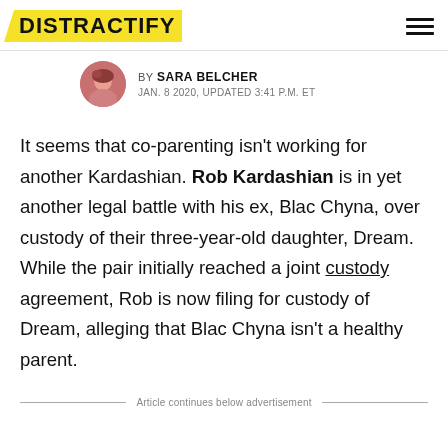DISTRACTIFY
BY SARA BELCHER
JAN. 8 2020, UPDATED 3:41 P.M. ET
It seems that co-parenting isn't working for another Kardashian. Rob Kardashian is in yet another legal battle with his ex, Blac Chyna, over custody of their three-year-old daughter, Dream. While the pair initially reached a joint custody agreement, Rob is now filing for custody of Dream, alleging that Blac Chyna isn't a healthy parent.
Article continues below advertisement